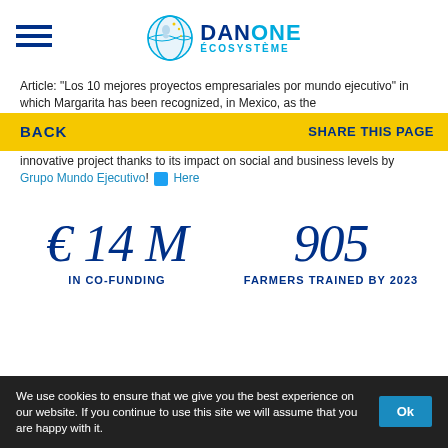[Figure (logo): Danone Ecosystème logo with circular globe icon and brand name]
Article: "Los 10 mejores proyectos empresariales por mundo ejecutivo" in which Margarita has been recognized, in Mexico, as the innovative project thanks to its impact on social and business levels by Grupo Mundo Ejecutivo! Here
€ 14 M
IN CO-FUNDING
905
FARMERS TRAINED BY 2023
We use cookies to ensure that we give you the best experience on our website. If you continue to use this site we will assume that you are happy with it.